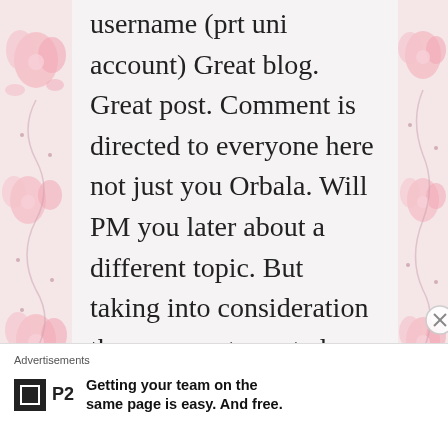username (prt uni account) Great blog. Great post. Comment is directed to everyone here not just you Orbala. Will PM you later about a different topic. But taking into consideration the comments posted here & some others I faced in person by ppl asking me the same old stuff....
Advertisements
P2 — Getting your team on the same page is easy. And free.